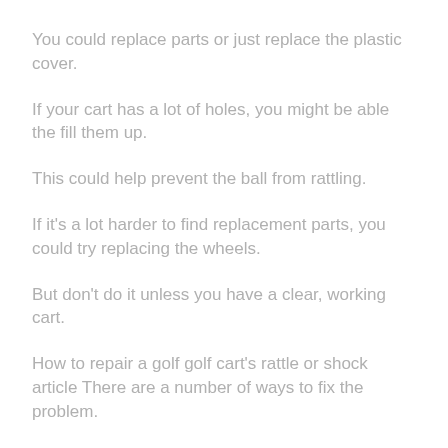You could replace parts or just replace the plastic cover.
If your cart has a lot of holes, you might be able the fill them up.
This could help prevent the ball from rattling.
If it's a lot harder to find replacement parts, you could try replacing the wheels.
But don't do it unless you have a clear, working cart.
How to repair a golf golf cart's rattle or shock article There are a number of ways to fix the problem.
First is to replace your ball.
It's possible to buy a replacement ball.